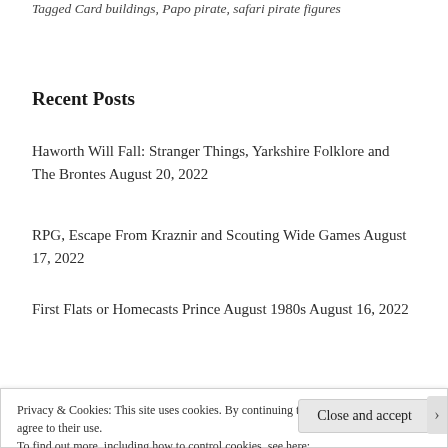Tagged Card buildings, Papo pirate, safari pirate figures
Recent Posts
Haworth Will Fall: Stranger Things, Yarkshire Folklore and The Brontes August 20, 2022
RPG, Escape From Kraznir and Scouting Wide Games August 17, 2022
First Flats or Homecasts Prince August 1980s August 16, 2022
Privacy & Cookies: This site uses cookies. By continuing to use this website, you agree to their use.
To find out more, including how to control cookies, see here: Cookie Policy
Close and accept